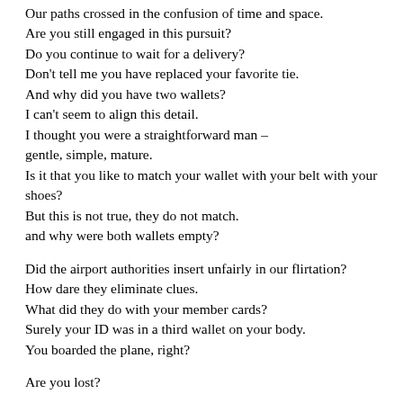Our paths crossed in the confusion of time and space.
Are you still engaged in this pursuit?
Do you continue to wait for a delivery?
Don't tell me you have replaced your favorite tie.
And why did you have two wallets?
I can't seem to align this detail.
I thought you were a straightforward man –
gentle, simple, mature.
Is it that you like to match your wallet with your belt with your shoes?
But this is not true, they do not match.
and why were both wallets empty?
Did the airport authorities insert unfairly in our flirtation?
How dare they eliminate clues.
What did they do with your member cards?
Surely your ID was in a third wallet on your body.
You boarded the plane, right?
Are you lost?